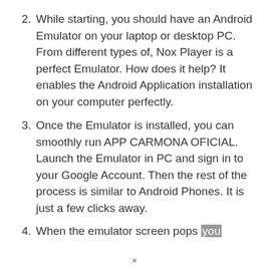2. While starting, you should have an Android Emulator on your laptop or desktop PC. From different types of, Nox Player is a perfect Emulator. How does it help? It enables the Android Application installation on your computer perfectly.
3. Once the Emulator is installed, you can smoothly run APP CARMONA OFICIAL. Launch the Emulator in PC and sign in to your Google Account. Then the rest of the process is similar to Android Phones. It is just a few clicks away.
4. When the emulator screen pops you